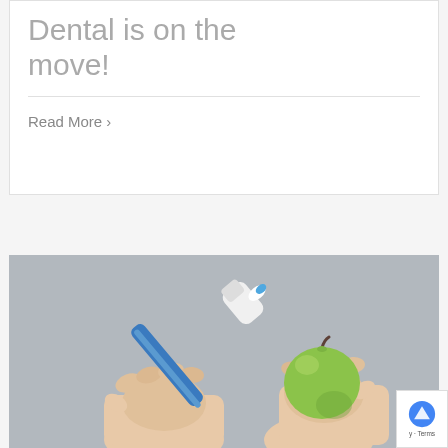Dental is on the move!
Read More >
[Figure (photo): Two hands against a grey background: one holding a blue and white toothbrush with toothpaste on the bristles, the other holding a green apple.]